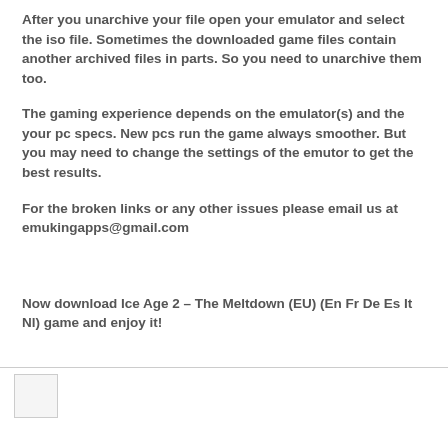After you unarchive your file open your emulator and select the iso file. Sometimes the downloaded game files contain another archived files in parts. So you need to unarchive them too.
The gaming experience depends on the emulator(s) and the your pc specs. New pcs run the game always smoother. But you may need to change the settings of the emutor to get the best results.
For the broken links or any other issues please email us at emukingapps@gmail.com
Now download Ice Age 2 – The Meltdown (EU) (En Fr De Es It Nl) game and enjoy it!
[Figure (other): Small empty square box at bottom left]